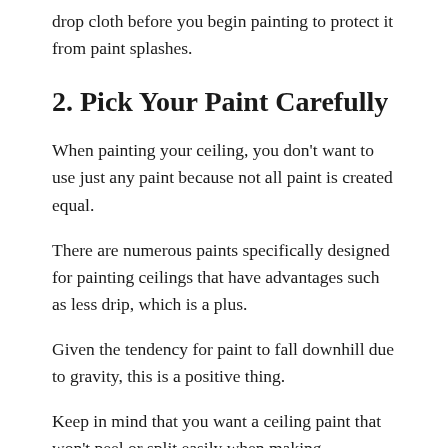drop cloth before you begin painting to protect it from paint splashes.
2. Pick Your Paint Carefully
When painting your ceiling, you don't want to use just any paint because not all paint is created equal.
There are numerous paints specifically designed for painting ceilings that have advantages such as less drip, which is a plus.
Given the tendency for paint to fall downhill due to gravity, this is a positive thing.
Keep in mind that you want a ceiling paint that won't peel or split easily when making